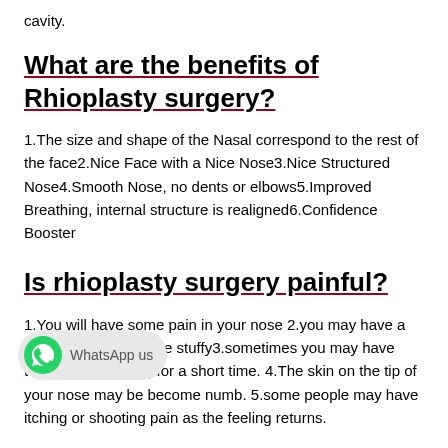cavity.
What are the benefits of Rhioplasty surgery?
1.The size and shape of the Nasal correspond to the rest of the face2.Nice Face with a Nice Nose3.Nice Structured Nose4.Smooth Nose, no dents or elbows5.Improved Breathing, internal structure is realigned6.Confidence Booster
Is rhioplasty surgery painful?
1.You will have some pain in your nose 2.you may have a nose may be stuffy3.sometimes you may have trouble in breathing for a short time. 4.The skin on the tip of your nose may be become numb. 5.some people may have itching or shooting pain as the feeling returns.